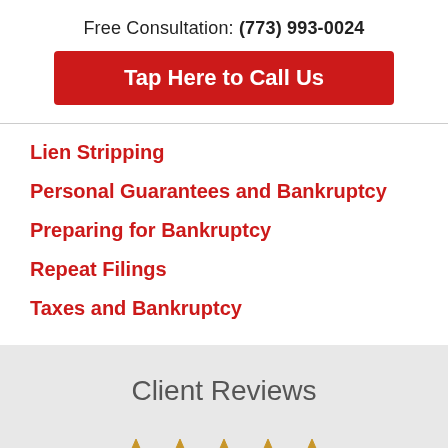Free Consultation: (773) 993-0024
Tap Here to Call Us
Lien Stripping
Personal Guarantees and Bankruptcy
Preparing for Bankruptcy
Repeat Filings
Taxes and Bankruptcy
Client Reviews
[Figure (other): Five gold star rating icons partially visible at bottom of page]